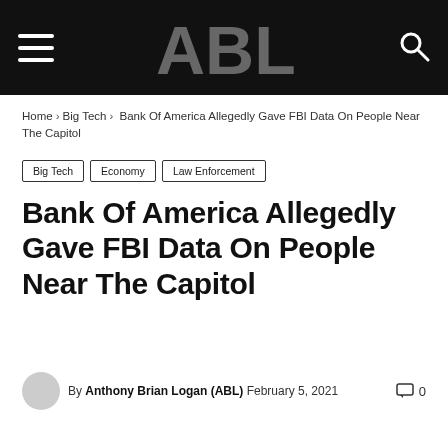ABL (site logo with hamburger menu and search icon)
Home › Big Tech › Bank Of America Allegedly Gave FBI Data On People Near The Capitol
Big Tech
Economy
Law Enforcement
Bank Of America Allegedly Gave FBI Data On People Near The Capitol
By Anthony Brian Logan (ABL) February 5, 2021  0